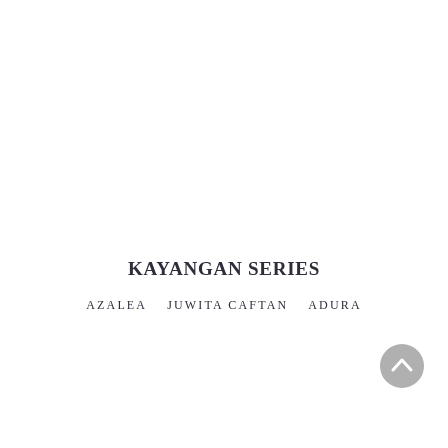KAYANGAN SERIES
AZALEA   JUWITA CAFTAN   ADURA
[Figure (other): Gray circular scroll-to-top button with upward chevron arrow icon]